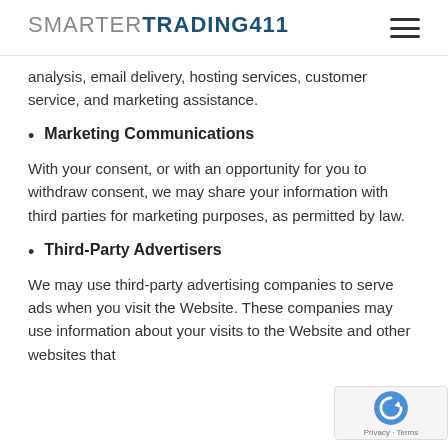SMARTERTRADING411
analysis, email delivery, hosting services, customer service, and marketing assistance.
Marketing Communications
With your consent, or with an opportunity for you to withdraw consent, we may share your information with third parties for marketing purposes, as permitted by law.
Third-Party Advertisers
We may use third-party advertising companies to serve ads when you visit the Website. These companies may use information about your visits to the Website and other websites that